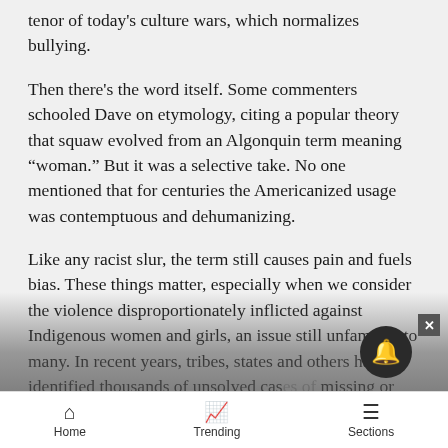tenor of today's culture wars, which normalizes bullying.
Then there's the word itself. Some commenters schooled Dave on etymology, citing a popular theory that squaw evolved from an Algonquin term meaning “woman.” But it was a selective take. No one mentioned that for centuries the Americanized usage was contemptuous and dehumanizing.
Like any racist slur, the term still causes pain and fuels bias. These things matter, especially when we consider the violence disproportionately inflicted against Indigenous women and girls, an issue still unfamiliar to many. In recent years, tribes, states and others have identified thousands of unsolved cases of missing or murdered Indigenous women and girls and
Home   Trending   Sections